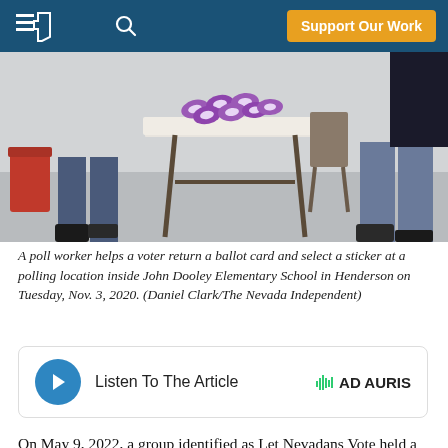Support Our Work
[Figure (photo): A poll worker helping a voter at a folding table with stickers on it inside a polling location. People in jeans and a red chair visible in the background.]
A poll worker helps a voter return a ballot card and select a sticker at a polling location inside John Dooley Elementary School in Henderson on Tuesday, Nov. 3, 2020. (Daniel Clark/The Nevada Independent)
[Figure (other): Audio player widget: Listen To The Article button with AD AURIS branding]
On May 9, 2022, a group identified as Let Nevadans Vote held a press conference opposing a proposed ballot initiative that